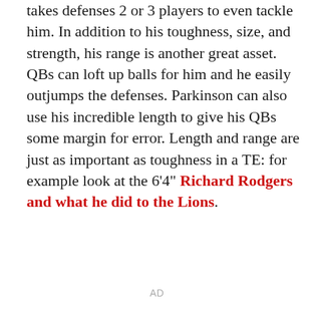takes defenses 2 or 3 players to even tackle him. In addition to his toughness, size, and strength, his range is another great asset. QBs can loft up balls for him and he easily outjumps the defenses. Parkinson can also use his incredible length to give his QBs some margin for error. Length and range are just as important as toughness in a TE: for example look at the 6'4" Richard Rodgers and what he did to the Lions.
AD